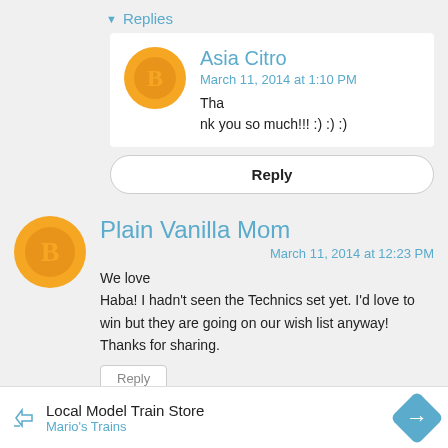Replies
Asia Citro
March 11, 2014 at 1:10 PM
Thank you so much!!! :) :) :)
Reply
Plain Vanilla Mom
March 11, 2014 at 12:23 PM
We love Haba! I hadn't seen the Technics set yet. I'd love to win but they are going on our wish list anyway! Thanks for sharing.
Reply
Local Model Train Store
Mario's Trains